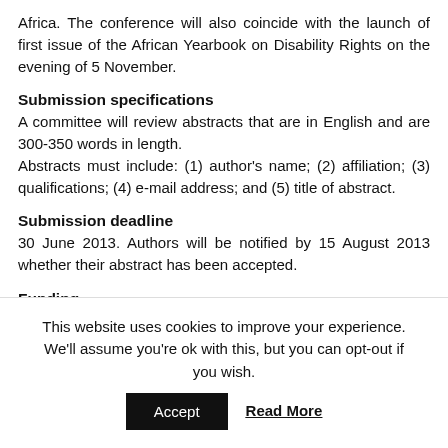Africa. The conference will also coincide with the launch of first issue of the African Yearbook on Disability Rights on the evening of 5 November.
Submission specifications
A committee will review abstracts that are in English and are 300-350 words in length.
Abstracts must include: (1) author's name; (2) affiliation; (3) qualifications; (4) e-mail address; and (5) title of abstract.
Submission deadline
30 June 2013. Authors will be notified by 15 August 2013 whether their abstract has been accepted.
Funding
Limited funding for travel and accommodation is available only to support those whose abstracts have been accepted
This website uses cookies to improve your experience. We'll assume you're ok with this, but you can opt-out if you wish.